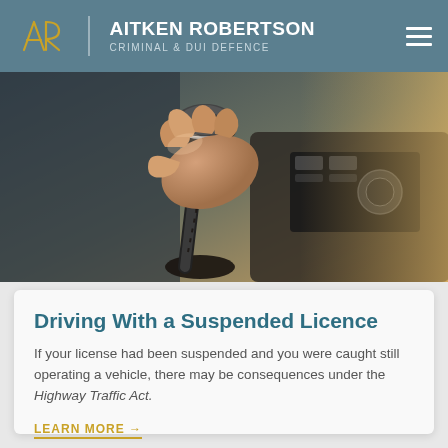AITKEN ROBERTSON CRIMINAL & DUI DEFENCE
[Figure (photo): Close-up photo of a hand gripping a car gear shift knob, with car interior dashboard visible in background]
Driving With a Suspended Licence
If your license had been suspended and you were caught still operating a vehicle, there may be consequences under the Highway Traffic Act.
LEARN MORE →